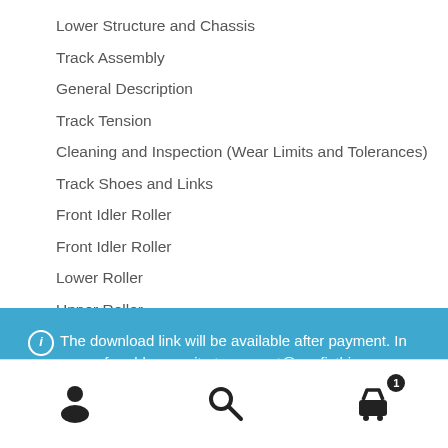Lower Structure and Chassis
Track Assembly
General Description
Track Tension
Cleaning and Inspection (Wear Limits and Tolerances)
Track Shoes and Links
Front Idler Roller
Front Idler Roller
Lower Roller
Upper Roller
The download link will be available after payment. In case of problems write to support@youfixthis.com
Dismiss